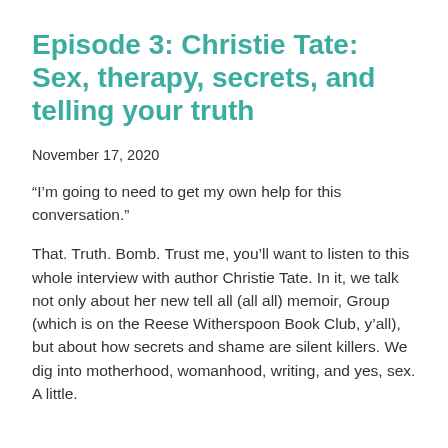Episode 3: Christie Tate: Sex, therapy, secrets, and telling your truth
November 17, 2020
“I’m going to need to get my own help for this conversation.”
That. Truth. Bomb. Trust me, you’ll want to listen to this whole interview with author Christie Tate. In it, we talk not only about her new tell all (all all) memoir, Group (which is on the Reese Witherspoon Book Club, y’all), but about how secrets and shame are silent killers. We dig into motherhood, womanhood, writing, and yes, sex. A little.